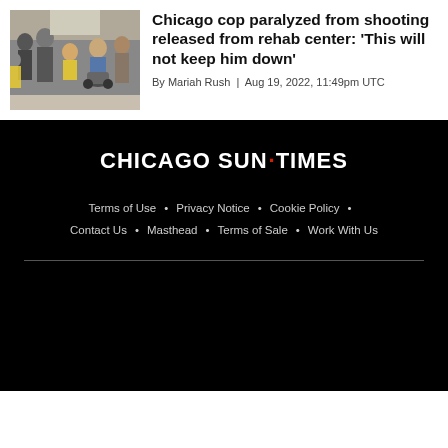[Figure (photo): Photo of a Chicago cop in a wheelchair surrounded by people in a building]
Chicago cop paralyzed from shooting released from rehab center: 'This will not keep him down'
By Mariah Rush | Aug 19, 2022, 11:49pm UTC
CHICAGO SUN-TIMES
Terms of Use • Privacy Notice • Cookie Policy •
Contact Us • Masthead • Terms of Sale • Work With Us